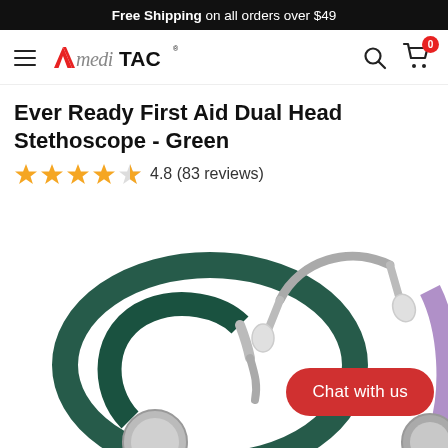Free Shipping on all orders over $49
[Figure (logo): MediTAC brand logo with hamburger menu, search icon, and cart showing 0 items]
Ever Ready First Aid Dual Head Stethoscope - Green
4.8 (83 reviews)
[Figure (photo): Green dual head stethoscope coiled, with chrome headset, ear tips visible. Partial view of purple stethoscope on the right edge. Chrome chestpiece at bottom.]
Chat with us